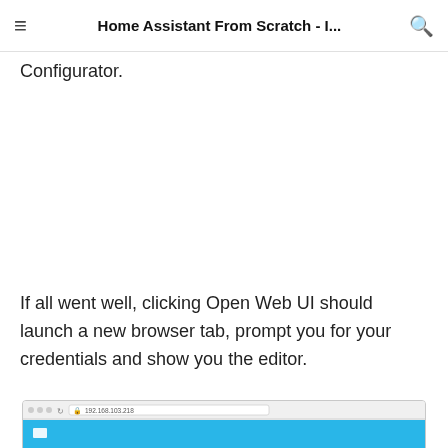Home Assistant From Scratch - I...
Configurator.
If all went well, clicking Open Web UI should launch a new browser tab, prompt you for your credentials and show you the editor.
[Figure (screenshot): Browser screenshot showing a web UI editor with a blue toolbar, address bar showing 192.168.103.218, and a folder icon in the blue navigation bar.]